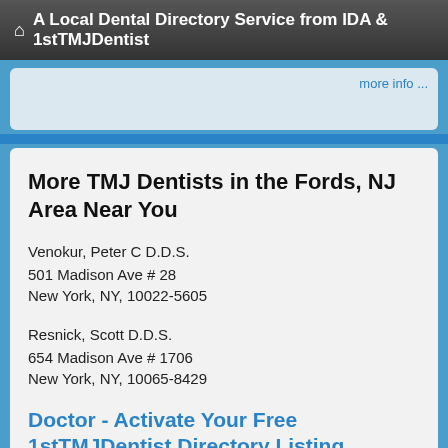A Local Dental Directory Service from IDA & 1stTMJDentist
more info ...
More TMJ Dentists in the Fords, NJ Area Near You
Venokur, Peter C D.D.S.
501 Madison Ave # 28
New York, NY, 10022-5605
Resnick, Scott D.D.S.
654 Madison Ave # 1706
New York, NY, 10065-8429
Doctor - Activate Your Free 1stTMJDentist Directory Listing
Dr. Stuart J.
17 West 54th Street